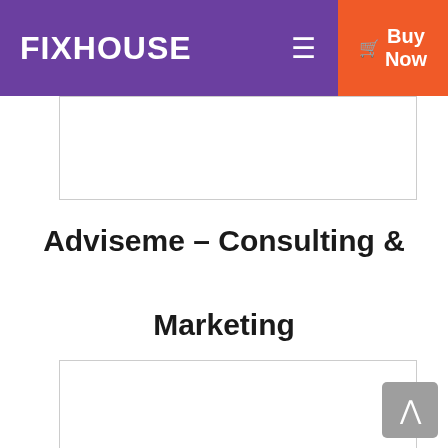FIXHOUSE
[Figure (other): Top image placeholder box, light gray border, empty white interior]
Adviseme – Consulting & Marketing
[Figure (other): Bottom image placeholder box, light gray border, empty white interior]